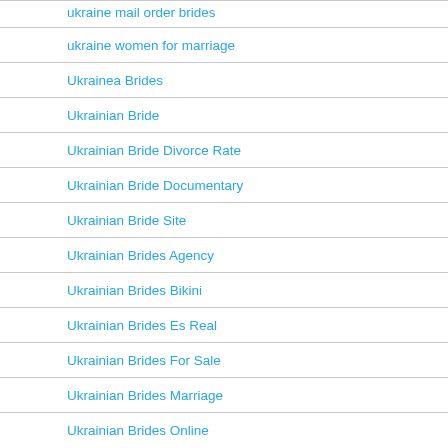ukraine mail order brides
ukraine women for marriage
Ukrainea Brides
Ukrainian Bride
Ukrainian Bride Divorce Rate
Ukrainian Bride Documentary
Ukrainian Bride Site
Ukrainian Brides Agency
Ukrainian Brides Bikini
Ukrainian Brides Es Real
Ukrainian Brides For Sale
Ukrainian Brides Marriage
Ukrainian Brides Online